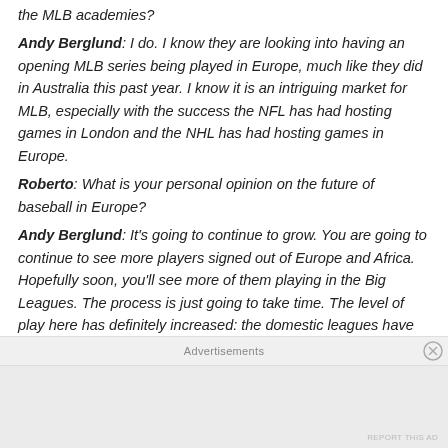the MLB academies?
Andy Berglund: I do. I know they are looking into having an opening MLB series being played in Europe, much like they did in Australia this past year. I know it is an intriguing market for MLB, especially with the success the NFL has had hosting games in London and the NHL has had hosting games in Europe.
Roberto: What is your personal opinion on the future of baseball in Europe?
Andy Berglund: It's going to continue to grow. You are going to continue to see more players signed out of Europe and Africa. Hopefully soon, you'll see more of them playing in the Big Leagues. The process is just going to take time. The level of play here has definitely increased: the domestic leagues have
Advertisements